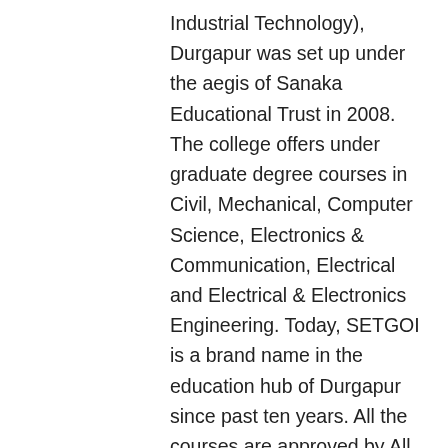Industrial Technology), Durgapur was set up under the aegis of Sanaka Educational Trust in 2008. The college offers under graduate degree courses in Civil, Mechanical, Computer Science, Electronics & Communication, Electrical and Electrical & Electronics Engineering. Today, SETGOI is a brand name in the education hub of Durgapur since past ten years. All the courses are approved by All India Council for Technical Education, New Delhi (AICTE) and affiliated to Maulana Abul Kalam Azad University of Technology, West Bengal (MAKAUT). The Institute has achieved the status of 2nd Top Ranking Potential Engineering College in West Bengal